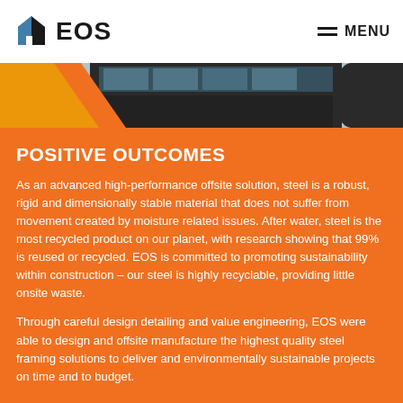EOS  MENU
[Figure (photo): Exterior photo of a modern building with dark cladding and glass facade, partially obscured by orange geometric shapes in the foreground]
POSITIVE OUTCOMES
As an advanced high-performance offsite solution, steel is a robust, rigid and dimensionally stable material that does not suffer from movement created by moisture related issues. After water, steel is the most recycled product on our planet, with research showing that 99% is reused or recycled. EOS is committed to promoting sustainability within construction – our steel is highly recyclable, providing little onsite waste.
Through careful design detailing and value engineering, EOS were able to design and offsite manufacture the highest quality steel framing solutions to deliver and environmentally sustainable projects on time and to budget.